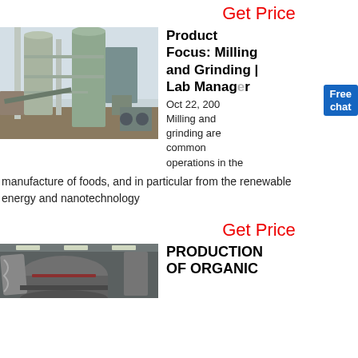Get Price
[Figure (photo): Industrial milling/grinding plant with large silos, conveyor equipment, and processing towers outdoors]
Product Focus: Milling and Grinding | Lab Manager
Oct 22, 200...
Milling and grinding are common operations in the manufacture of foods, and in particular from the renewable energy and nanotechnology
Get Price
[Figure (photo): Industrial grinding or milling machine interior, showing large cylindrical equipment]
PRODUCTION OF ORGANIC